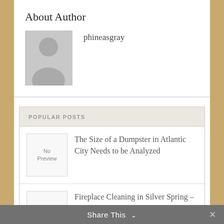About Author
[Figure (illustration): Default user avatar placeholder — grey square with silhouette of a person (head and shoulders)]
phineasgray
POPULAR POSTS
[Figure (other): No Preview placeholder box]
The Size of a Dumpster in Atlantic City Needs to be Analyzed
[Figure (other): No Preview placeholder box]
Fireplace Cleaning in Silver Spring – Hiring Experts to do the Job
Share This ∨  ✕